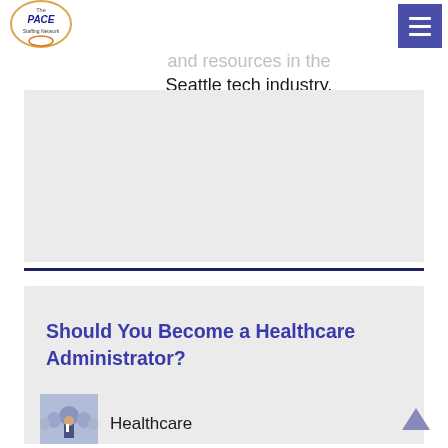The PACE Staffing Network
analytics. Contact PACE to utilize our network and resources in the Seattle tech industry.
Should You Become a Healthcare Administrator?
[Figure (photo): Group of business people with a man in a suit in front]
Healthcare